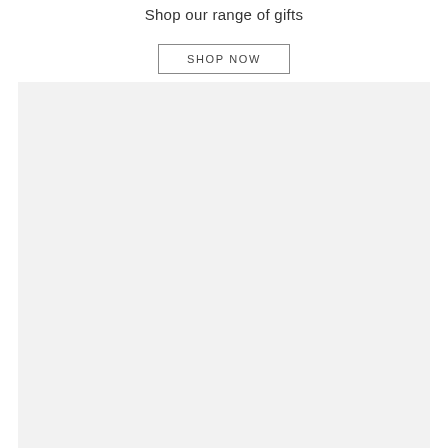Shop our range of gifts
SHOP NOW
[Figure (photo): Large light grey rectangular image placeholder area occupying most of the lower portion of the page]